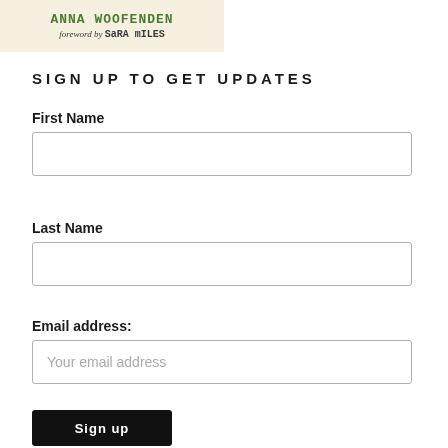[Figure (illustration): Book cover image showing handwritten-style title text in green with 'foreword by Sara Miles' in italicized handwriting on a cream/off-white background.]
SIGN UP TO GET UPDATES
First Name
Last Name
Email address:
Your email address
Sign up